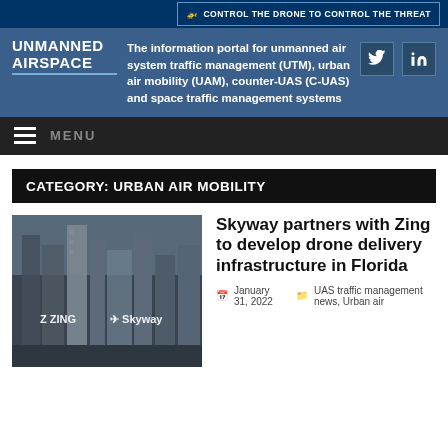[Figure (screenshot): Top advertisement banner: dark blue background with text 'CONTROL THE DRONE TO CONTROL THE THREAT' and small drone icon]
UNMANNED AIRSPACE
The information portal for unmanned air system traffic management (UTM), urban air mobility (UAM), counter-UAS (C-UAS) and space traffic management systems
MENU
CATEGORY: URBAN AIR MOBILITY
[Figure (photo): Aerial cityscape photo showing skyscrapers with Zing and Skyway logos overlaid]
Skyway partners with Zing to develop drone delivery infrastructure in Florida
January 31, 2022    UAS traffic management news, Urban air